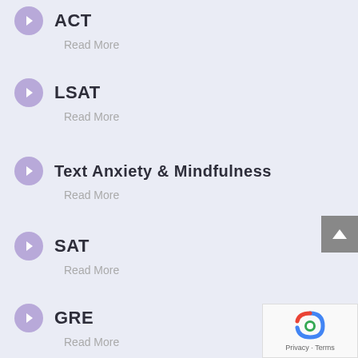ACT
Read More
LSAT
Read More
Text Anxiety & Mindfulness
Read More
SAT
Read More
GRE
Read More